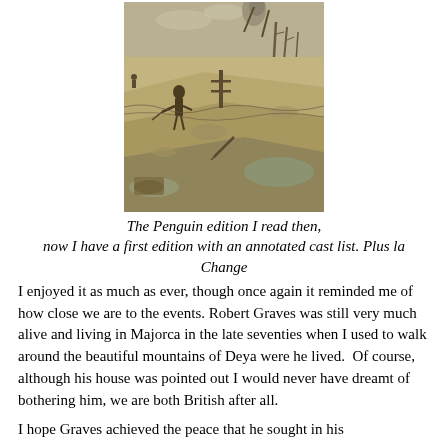[Figure (illustration): A sepia-toned illustration depicting a World War I battlefield scene with soldiers, barbed wire, damaged trees, muddy terrain, and a desolate landscape in a collage-like composition.]
The Penguin edition I read then, now I have a first edition with an annotated cast list. Plus la Change
I enjoyed it as much as ever, though once again it reminded me of how close we are to the events. Robert Graves was still very much alive and living in Majorca in the late seventies when I used to walk around the beautiful mountains of Deya were he lived.  Of course, although his house was pointed out I would never have dreamt of bothering him, we are both British after all.
I hope Graves achieved the peace that he sought in his